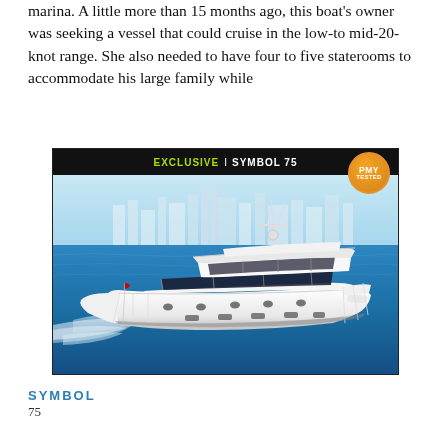marina. A little more than 15 months ago, this boat's owner was seeking a vessel that could cruise in the low- to mid-20-knot range. She also needed to have four to five staterooms to accommodate his large family while
[Figure (photo): A large white Symbol 75 motor yacht cruising on blue ocean water with a city skyline in the background. The image has a black header bar reading 'EXCLUSIVE | SYMBOL 75' with a PMY TESTED badge in the top right corner.]
SYMBOL
75